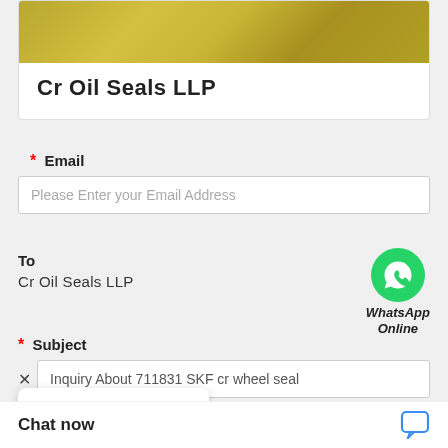[Figure (photo): Gold/brass colored oil seals product image at top of card]
Cr Oil Seals LLP
* Email
Please Enter your Email Address
To
Cr Oil Seals LLP
[Figure (logo): WhatsApp green circle with phone icon, labeled WhatsApp Online]
* Subject
Inquiry About 711831 SKF cr wheel seal
k question
Quick question
[Figure (screenshot): Popup with three dots (ellipsis) loading indicator]
Chat now